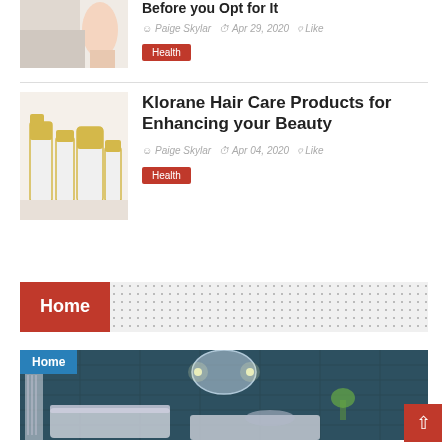[Figure (photo): Partial view of a person's hand holding a white cosmetic product]
Before you Opt for It
Paige Skylar  Apr 29, 2020  Like
Health
[Figure (photo): White and gold hair care product bottles and tubes arranged together]
Klorane Hair Care Products for Enhancing your Beauty
Paige Skylar  Apr 04, 2020  Like
Health
Home
[Figure (photo): Modern bathroom interior with teal tile wall, round mirror with lighting, bathtub and sink]
Home